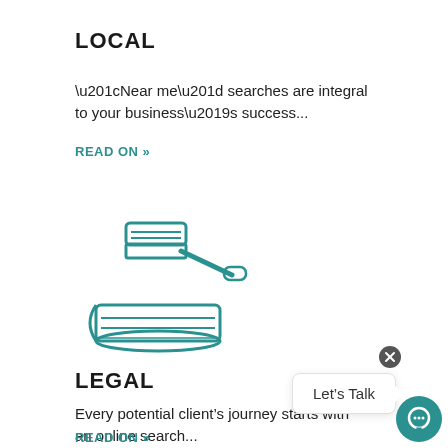LOCAL
“Near me” searches are integral to your business’s success...
READ ON »
[Figure (illustration): Teal outline icon of a judge's gavel resting on a law book]
LEGAL
Every potential client’s journey starts with an online search...
READ ON »